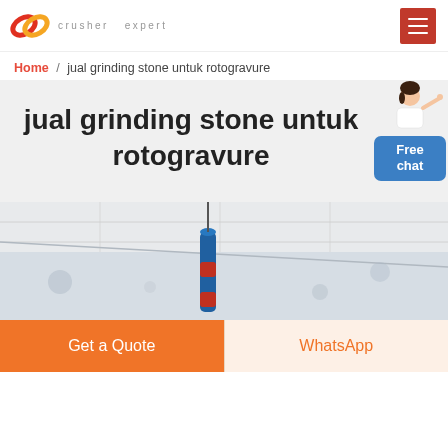crusher expert [logo] [hamburger menu]
Home / jual grinding stone untuk rotogravure
jual grinding stone untuk rotogravure
[Figure (photo): Industrial ceiling/crane photo showing blue and red crane machinery against a white industrial ceiling]
Get a Quote
WhatsApp